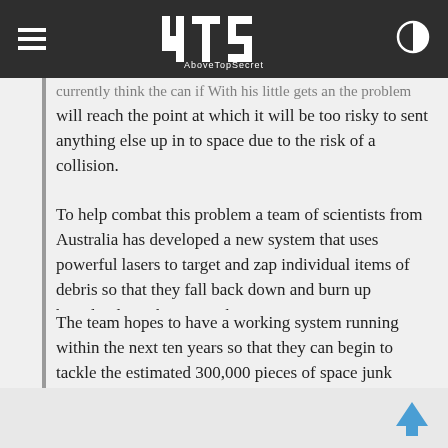ATS AboveTopSecret
currently think the can if With his little gets an the problem will reach the point at which it will be too risky to sent anything else up in to space due to the risk of a collision.
To help combat this problem a team of scientists from Australia has developed a new system that uses powerful lasers to target and zap individual items of debris so that they fall back down and burn up harmlessly in the atmosphere.
The team hopes to have a working system running within the next ten years so that they can begin to tackle the estimated 300,000 pieces of space junk currently in orbit.
"It's important that it's possible on that scale because there's so much space junk up there," said Matthew Colless, director of Australian National University's Research School of Astronomy and Astrophysics. "We're perhaps only a couple of decades away from a catastrophic cascade of collisions... that takes out all the satellites in low orbit."